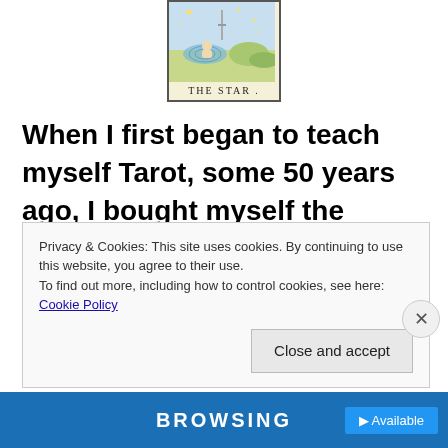[Figure (illustration): Tarot card titled THE STAR. showing a landscape with water and sky, bordered with decorative frame.]
When I first began to teach myself Tarot, some 50 years ago, I bought myself the Ryder-Waite deck (there were only a few decks back then) and
Privacy & Cookies: This site uses cookies. By continuing to use this website, you agree to their use.
To find out more, including how to control cookies, see here: Cookie Policy
Close and accept
BROWSING